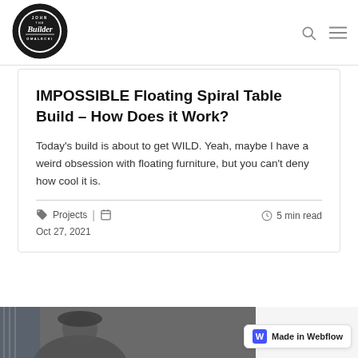John The Builder Omalecki — navigation header with logo, search icon, and menu icon
IMPOSSIBLE Floating Spiral Table Build – How Does it Work?
Today's build is about to get WILD. Yeah, maybe I have a weird obsession with floating furniture, but you can't deny how cool it is.
Projects | Oct 27, 2021 | 5 min read
[Figure (photo): Partial photo of a person wearing a cap at the bottom of the page, with a Made in Webflow badge overlay]